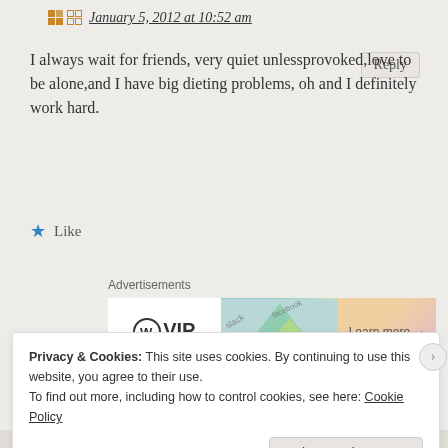January 5, 2012 at 10:52 am
I always wait for friends, very quiet unlessprovoked,love to be alone,and I have big dieting problems, oh and I definitely work hard.
★ Like
Advertisements
[Figure (other): WordPress VIP advertisement banner with colorful books/notebooks image and 'Learn more →' button]
Ella says:
January 8, 2012 at 9:18 am
Privacy & Cookies: This site uses cookies. By continuing to use this website, you agree to their use.
To find out more, including how to control cookies, see here: Cookie Policy
Close and accept
WORDPRESS.COM